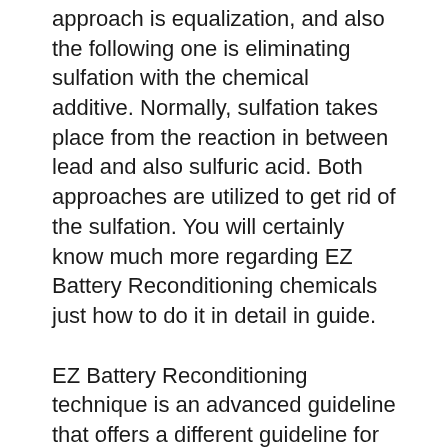approach is equalization, and also the following one is eliminating sulfation with the chemical additive. Normally, sulfation takes place from the reaction in between lead and also sulfuric acid. Both approaches are utilized to get rid of the sulfation. You will certainly know much more regarding EZ Battery Reconditioning chemicals just how to do it in detail in guide.
EZ Battery Reconditioning technique is an advanced guideline that offers a different guideline for different sorts of batteries.
Where to Buy EZ Battery Reconditioning?